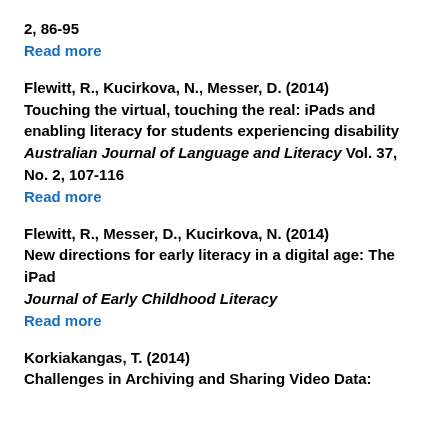2, 86-95
Read more
Flewitt, R., Kucirkova, N., Messer, D. (2014)
Touching the virtual, touching the real: iPads and enabling literacy for students experiencing disability
Australian Journal of Language and Literacy Vol. 37, No. 2, 107-116
Read more
Flewitt, R., Messer, D., Kucirkova, N. (2014)
New directions for early literacy in a digital age: The iPad
Journal of Early Childhood Literacy
Read more
Korkiakangas, T. (2014)
Challenges in Archiving and Sharing Video Data: